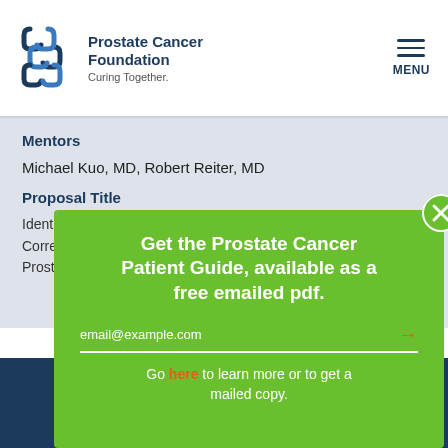[Figure (logo): Prostate Cancer Foundation logo with chain-link icon, name and tagline 'Curing Together.', and a hamburger menu icon labeled MENU]
Mentors
Michael Kuo, MD, Robert Reiter, MD
Proposal Title
Identifying Ge...
Correlates in...
Prostate Can...
[Figure (screenshot): Green popup modal: 'Get the Prostate Cancer Patient Guide, available as a free emailed pdf.' with email input field and orange arrow, and footer text 'Go here to learn more or to get a mailed copy.' with close button]
By using this ... mo... more...